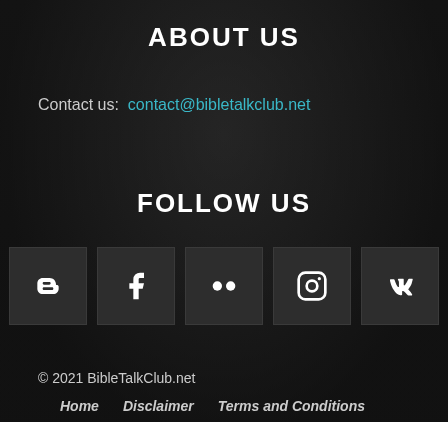ABOUT US
Contact us: contact@bibletalkclub.net
FOLLOW US
[Figure (other): Row of 5 social media icon buttons: Blogger, Facebook, Flickr, Instagram, VK]
© 2021 BibleTalkClub.net
Home
Disclaimer
Terms and Conditions
Privacy Policy